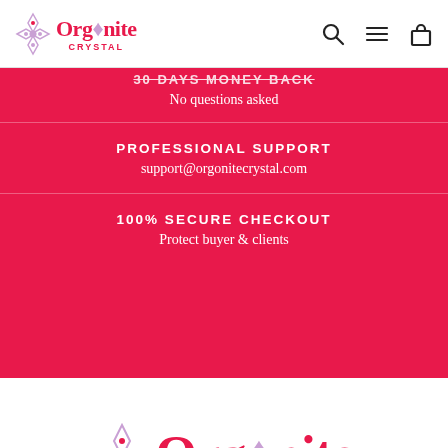Orgonite CRYSTAL
30 DAYS MONEY BACK
No questions asked
PROFESSIONAL SUPPORT
support@orgonitecrystal.com
100% SECURE CHECKOUT
Protect buyer & clients
[Figure (logo): Orgonite Crystal logo - large centered version with decorative crystal snowflake icon in lavender/pink, red serif text 'Orgonite' and grey 'CRYSTAL' subtitle]
INFORMATION